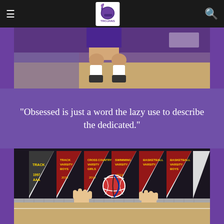Navigation bar with menu icon, school logo (Trojan helmet), and search icon
[Figure (photo): Partial view of a volleyball player's legs and lower body in purple uniform standing on a gym court]
"Obsessed is just a word the lazy use to describe the dedicated."
[Figure (photo): Volleyball players reaching up at the net with a volleyball, sports pennant banners visible in the background including Track, Cross Country, Basketball banners]